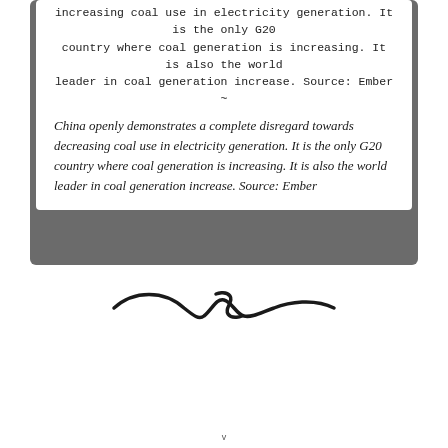increasing coal use in electricity generation. It is the only G20 country where coal generation is increasing. It is also the world leader in coal generation increase. Source: Ember ~
China openly demonstrates a complete disregard towards decreasing coal use in electricity generation. It is the only G20 country where coal generation is increasing. It is also the world leader in coal generation increase. Source: Ember
[Figure (illustration): Decorative swirl/flourish divider]
v